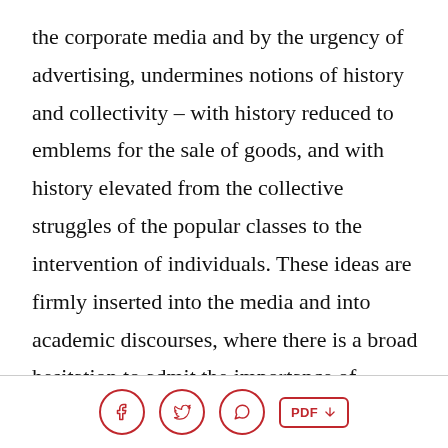the corporate media and by the urgency of advertising, undermines notions of history and collectivity – with history reduced to emblems for the sale of goods, and with history elevated from the collective struggles of the popular classes to the intervention of individuals. These ideas are firmly inserted into the media and into academic discourses, where there is a broad hesitation to admit the importance of popular action in the making of history and where there is a general sentiment that transformative change is perhaps neither desirable nor possible. What this implies is
[Facebook] [Twitter] [WhatsApp] PDF ↓